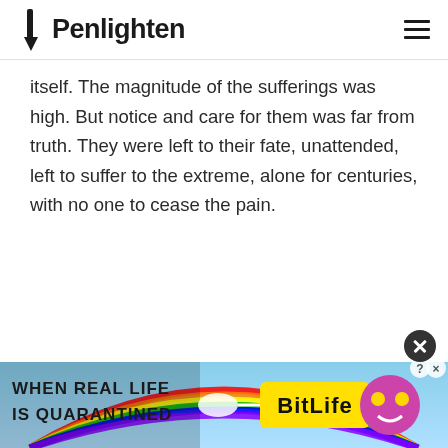Penlighten
itself. The magnitude of the sufferings was high. But notice and care for them was far from truth. They were left to their fate, unattended, left to suffer to the extreme, alone for centuries, with no one to cease the pain.
[Figure (infographic): Advertisement banner for BitLife game with colorful rainbow background and text 'WHEN REAL LIFE IS QUARANTINED']